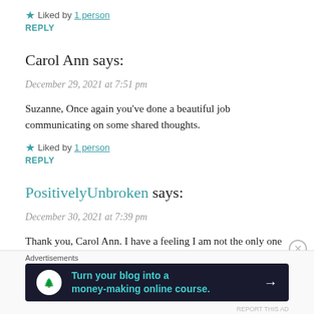★ Liked by 1 person
REPLY
Carol Ann says:
December 29, 2021 at 7:51 pm
Suzanne, Once again you've done a beautiful job communicating on some shared thoughts.
★ Liked by 1 person
REPLY
PositivelyUnbroken says:
December 30, 2021 at 7:39 pm
Thank you, Carol Ann. I have a feeling I am not the only one who is a bit
Advertisements
[Figure (infographic): Dark banner advertisement: 'Turn your blog into a money-making online course.' with arrow and tree/person icon on white circle background.]